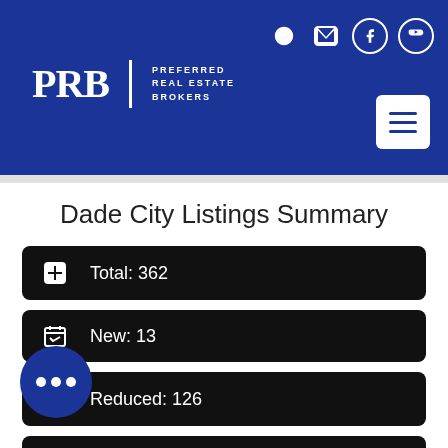[Figure (logo): PRB Preferred Real Estate Brokers logo in white on blue header]
Dade City Listings Summary
Total: 362
New: 13
Reduced: 126
Open House: 3